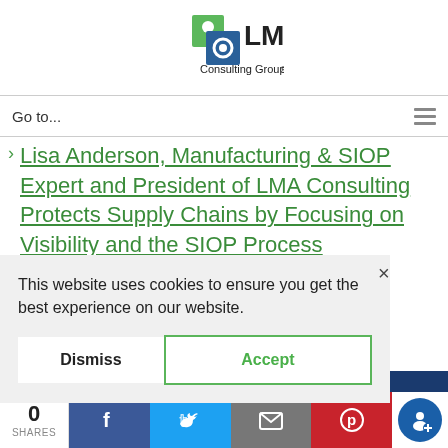[Figure (logo): LMA Consulting Group logo with green and blue icon and text 'LMA Consulting Group']
Go to...
Lisa Anderson, Manufacturing & SIOP Expert and President of LMA Consulting Protects Supply Chains by Focusing on Visibility and the SIOP Process
This website uses cookies to ensure you get the best experience on our website.
Dismiss
Accept
0
SHARES